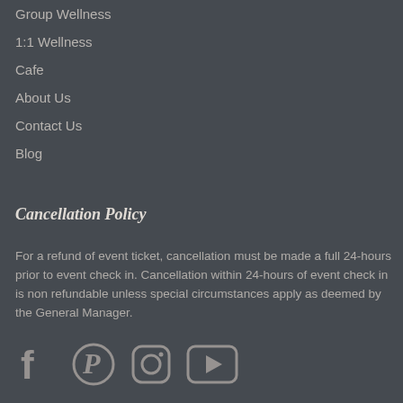Group Wellness
1:1 Wellness
Cafe
About Us
Contact Us
Blog
Cancellation Policy
For a refund of event ticket, cancellation must be made a full 24-hours prior to event check in. Cancellation within 24-hours of event check in is non refundable unless special circumstances apply as deemed by the General Manager.
[Figure (infographic): Social media icons: Facebook, Pinterest, Instagram, YouTube]